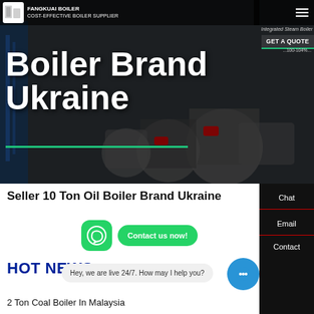[Figure (photo): Hero banner showing industrial boilers/machinery with dark overlay, website header area with logo, navigation, and large white text overlay reading 'Boiler Brand Ukraine']
FANGKUAI BOILER | COST-EFFECTIVE BOILER SUPPLIER | Integrated Steam Boiler | GET A QUOTE
Boiler Brand Ukraine
Seller 10 Ton Oil Boiler Brand Ukraine
[Figure (logo): WhatsApp green icon button]
Contact us now!
HOT NEWS
Hey, we are live 24/7. How may I help you?
2 Ton Coal Boiler In Malaysia